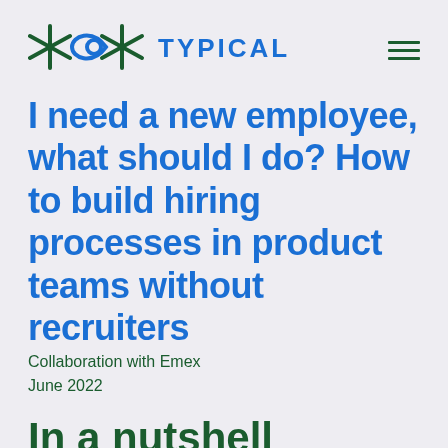TYPICAL
I need a new employee, what should I do? How to build hiring processes in product teams without recruiters
Collaboration with Emex
June 2022
In a nutshell